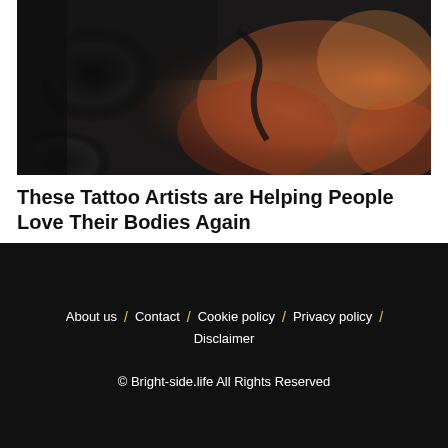[Figure (photo): Close-up photo of hands in black latex gloves performing a tattoo, with colorful tattooed skin visible in the background]
These Tattoo Artists are Helping People Love Their Bodies Again
About us / Contact / Cookie policy / Privacy policy / Disclaimer
© Bright-side.life All Rights Reserved